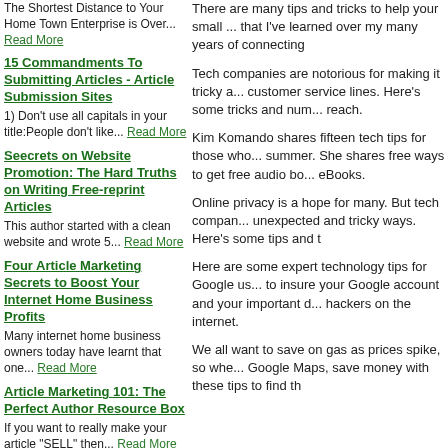The Shortest Distance to Your Home Town Enterprise is Over... Read More
15 Commandments To Submitting Articles - Article Submission Sites
1) Don't use all capitals in your title:People don't like... Read More
Seecrets on Website Promotion: The Hard Truths on Writing Free-reprint Articles
This author started with a clean website and wrote 5... Read More
Four Article Marketing Secrets to Boost Your Internet Home Business Profits
Many internet home business owners today have learnt that one... Read More
Article Marketing 101: The Perfect Author Resource Box
If you want to really make your article "SELL" then... Read More
There are many tips and tricks to help your small ... that I've learned over my many years of connecting
Tech companies are notorious for making it tricky ... customer service lines. Here's some tricks and num... reach.
Kim Komando shares fifteen tech tips for those who... summer. She shares free ways to get free audio bo... eBooks.
Online privacy is a hope for many. But tech compan... unexpected and tricky ways. Here's some tips and t
Here are some expert technology tips for Google us... to insure your Google account and your important d... hackers on the internet.
We all want to save on gas as prices spike, so whe... Google Maps, save money with these tips to find th
choice remodeling pat scales
remodeling . . .